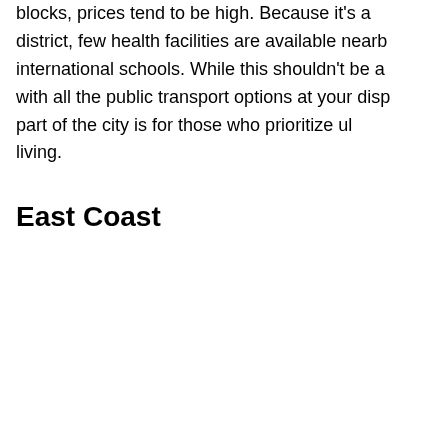blocks, prices tend to be high. Because it's a district, few health facilities are available nearby international schools. While this shouldn't be a with all the public transport options at your disp part of the city is for those who prioritize ul living.
East Coast